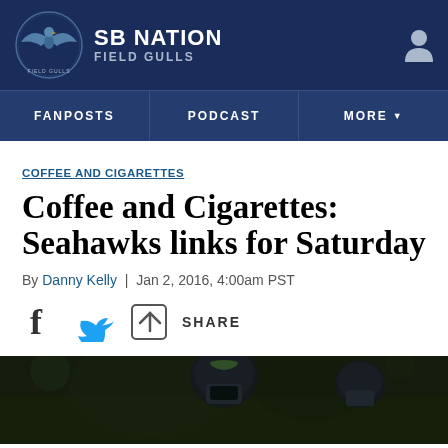SB NATION / FIELD GULLS
FANPOSTS | PODCAST | MORE
COFFEE AND CIGARETTES
Coffee and Cigarettes: Seahawks links for Saturday
By Danny Kelly | Jan 2, 2016, 4:00am PST
SHARE
[Figure (photo): Seahawks football players on field, dark/night game, helmets visible, dark green background]